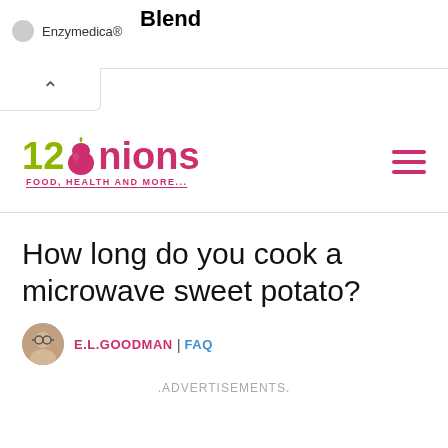Blend
Enzymedica®
[Figure (logo): 12Onions logo with tagline FOOD, HEALTH AND MORE...]
How long do you cook a microwave sweet potato?
E.L.GOODMAN | FAQ
.ADVERTISEMENTS.